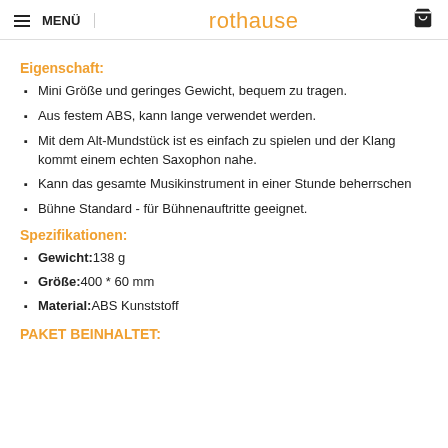MENÜ   rothause   🛒
Eigenschaft:
Mini Größe und geringes Gewicht, bequem zu tragen.
Aus festem ABS, kann lange verwendet werden.
Mit dem Alt-Mundstück ist es einfach zu spielen und der Klang kommt einem echten Saxophon nahe.
Kann das gesamte Musikinstrument in einer Stunde beherrschen
Bühne Standard - für Bühnenauftritte geeignet.
Spezifikationen:
Gewicht: 138 g
Größe: 400 * 60 mm
Material: ABS Kunststoff
PAKET BEINHALTET: